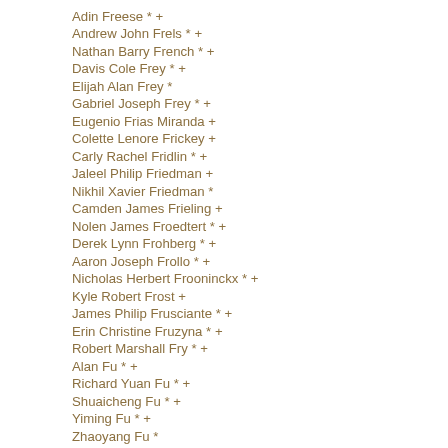Adin Freese * +
Andrew John Frels * +
Nathan Barry French * +
Davis Cole Frey * +
Elijah Alan Frey *
Gabriel Joseph Frey * +
Eugenio Frias Miranda +
Colette Lenore Frickey +
Carly Rachel Fridlin * +
Jaleel Philip Friedman +
Nikhil Xavier Friedman *
Camden James Frieling +
Nolen James Froedtert * +
Derek Lynn Frohberg * +
Aaron Joseph Frollo * +
Nicholas Herbert Frooninckx * +
Kyle Robert Frost +
James Philip Frusciante * +
Erin Christine Fruzyna * +
Robert Marshall Fry * +
Alan Fu * +
Richard Yuan Fu * +
Shuaicheng Fu * +
Yiming Fu * +
Zhaoyang Fu *